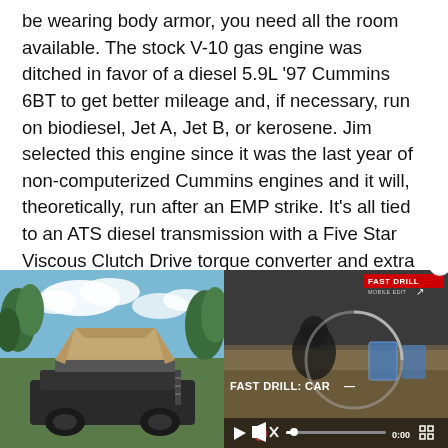be wearing body armor, you need all the room available. The stock V-10 gas engine was ditched in favor of a diesel 5.9L '97 Cummins 6BT to get better mileage and, if necessary, run on biodiesel, Jet A, Jet B, or kerosene. Jim selected this engine since it was the last year of non-computerized Cummins engines and it will, theoretically, run after an EMP strike. It's all tied to an ATS diesel transmission with a Five Star Viscous Clutch Drive torque converter and extra deep pan.
[Figure (photo): Left: Outdoor photo showing a vehicle with a rooftop tent deployed, trees and blue sky in the background. Right: Video player overlay showing 'FAST DRILL: CAR...' with FAST DRILL branding, muted audio icon, progress bar at 0:00, and playback controls.]